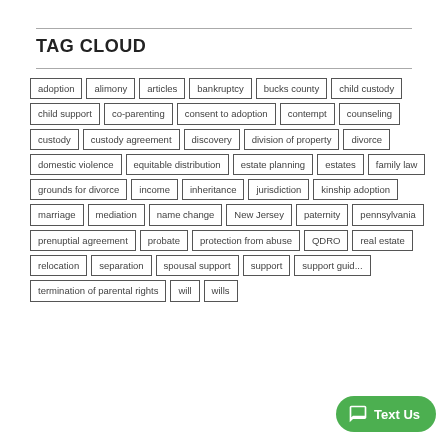TAG CLOUD
[Figure (infographic): Tag cloud showing legal topic tags as bordered rectangular labels arranged in rows: adoption, alimony, articles, bankruptcy, bucks county, child custody, child support, co-parenting, consent to adoption, contempt, counseling, custody, custody agreement, discovery, division of property, divorce, domestic violence, equitable distribution, estate planning, estates, family law, grounds for divorce, income, inheritance, jurisdiction, kinship adoption, marriage, mediation, name change, New Jersey, paternity, pennsylvania, prenuptial agreement, probate, protection from abuse, QDRO, real estate, relocation, separation, spousal support, support, support guidelines, termination of parental rights, will, wills]
[Figure (infographic): Green SMS button with chat icon and 'Text Us' label in bottom right corner]